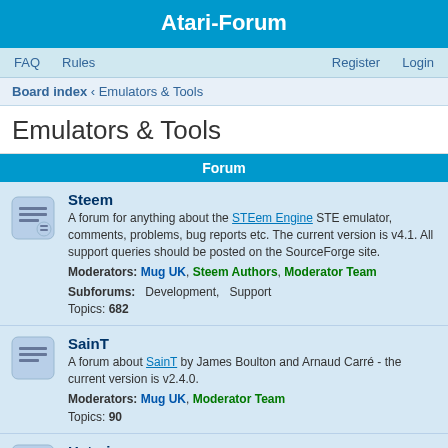Atari-Forum
FAQ  Rules  Register  Login
Board index › Emulators & Tools
Emulators & Tools
Forum
Steem
A forum for anything about the STEem Engine STE emulator, comments, problems, bug reports etc. The current version is v4.1. All support queries should be posted on the SourceForge site.
Moderators: Mug UK, Steem Authors, Moderator Team
Subforums: Development, Support
Topics: 682
SainT
A forum about SainT by James Boulton and Arnaud Carré - the current version is v2.4.0.
Moderators: Mug UK, Moderator Team
Topics: 90
Hatari
A forum about the Hatari ST/STE/Falcon emulator - the current version is v2.4.1
Moderators: simonsunnyboy, thothy, Moderator Team
Topics: 560
Pasti & VAPI